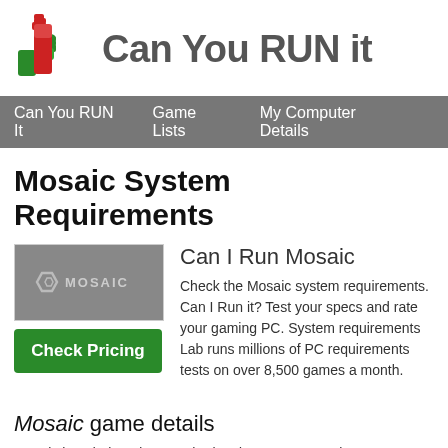[Figure (logo): Can You RUN it logo with green thumbs up and red thumbs down icons next to the site title text]
Can You RUN It   Game Lists   My Computer Details
Mosaic System Requirements
[Figure (screenshot): Mosaic game thumbnail showing the word MOSAIC with a hexagonal logo on a dark gray background]
Check Pricing
Can I Run Mosaic
Check the Mosaic system requirements. Can I Run it? Test your specs and rate your gaming PC. System requirements Lab runs millions of PC requirements tests on over 8,500 games a month.
Mosaic game details
Mosaic is a dark and atmospheric adventure game ab